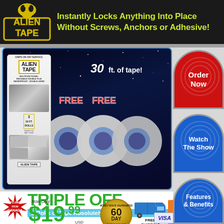[Figure (logo): Alien Tape logo - yellow outlined text on black background]
Instantly Locks Anything Into Place Without Screws, Anchors or Adhesive!
[Figure (photo): Alien Tape product box and three rolls of tape on dark starry background with FREE labels and 30 ft. of tape text]
Order Now
Watch The Show
TRIPLE OFF
2 Rolls of Tape Absolutely Free
Now Only $19.99 USD
Features & Benefits
[Figure (infographic): 60 Day Money Back Guarantee badge, Free Shipping truck icon, payment icons including orange button and Visa]